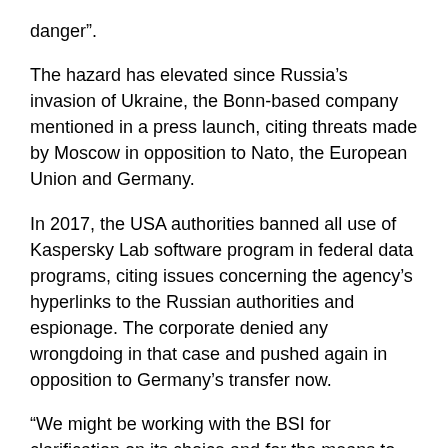danger”.
The hazard has elevated since Russia’s invasion of Ukraine, the Bonn-based company mentioned in a press launch, citing threats made by Moscow in opposition to Nato, the European Union and Germany.
In 2017, the USA authorities banned all use of Kaspersky Lab software program in federal data programs, citing issues concerning the agency’s hyperlinks to the Russian authorities and espionage. The corporate denied any wrongdoing in that case and pushed again in opposition to Germany’s transfer now.
“We might be working with the BSI for clarification on its choice and for the means to handle its and different regulators’ issues,” Kaspersky mentioned in an e-mailed assertion on Tuesday. “We consider that peaceable dialogue is the one potential instrument for resolving